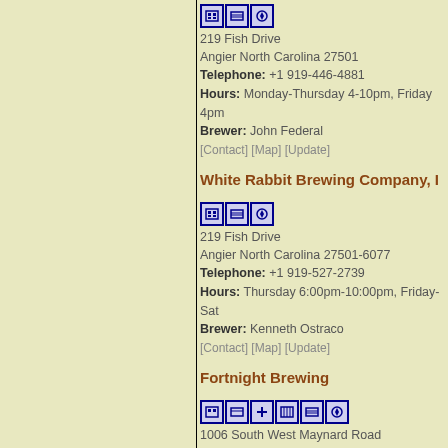219 Fish Drive
Angier North Carolina 27501
Telephone: +1 919-446-4881
Hours: Monday-Thursday 4-10pm, Friday 4pm
Brewer: John Federal
[Contact] [Map] [Update]
White Rabbit Brewing Company, I
219 Fish Drive
Angier North Carolina 27501-6077
Telephone: +1 919-527-2739
Hours: Thursday 6:00pm-10:00pm, Friday-Sat
Brewer: Kenneth Ostraco
[Contact] [Map] [Update]
Fortnight Brewing
1006 South West Maynard Road
Cary North Carolina 27511-4385
Hours: Monday-Thursday 4-10pm, Friday-Satu
Brewer: Stuart Arnold
[Map] [Update]
Brice's Brewing
1822 Garner Station Road
Raleigh North Carolina 27603